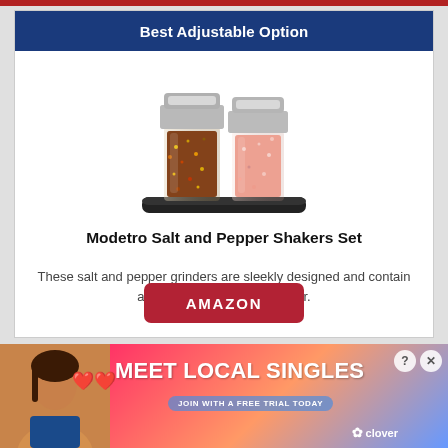Best Adjustable Option
[Figure (photo): Two stainless steel and glass salt and pepper grinder shakers on a black tray. Left shaker contains colorful mixed peppercorns, right shaker contains pink Himalayan salt.]
Modetro Salt and Pepper Shakers Set
These salt and pepper grinders are sleekly designed and contain an adjustable ceramic grinder.
AMAZON
[Figure (illustration): Advertisement banner: MEET LOCAL SINGLES - JOIN WITH A FREE TRIAL TODAY - clover branding with woman photo and heart emojis]